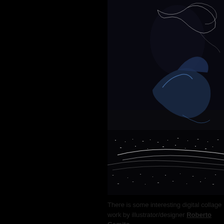[Figure (illustration): Dark digital collage artwork showing a dark figure or creature against a black background with glowing white streaks and light trails at the bottom suggesting a cityscape or landscape at night. The upper portion shows abstract creature-like forms in blue and white against deep black.]
There is some interesting digital collage work by illustrator/designer Roberto Gamito.